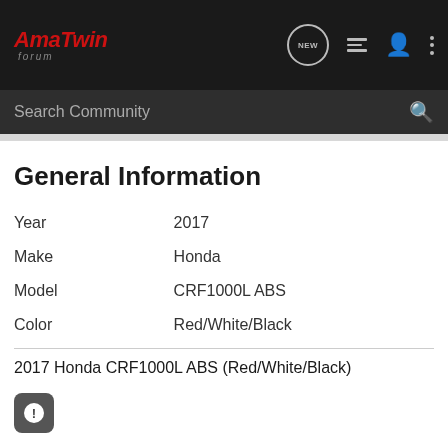AmaTwin Forum - NEW
General Information
| Field | Value |
| --- | --- |
| Year | 2017 |
| Make | Honda |
| Model | CRF1000L ABS |
| Color | Red/White/Black |
2017 Honda CRF1000L ABS (Red/White/Black)